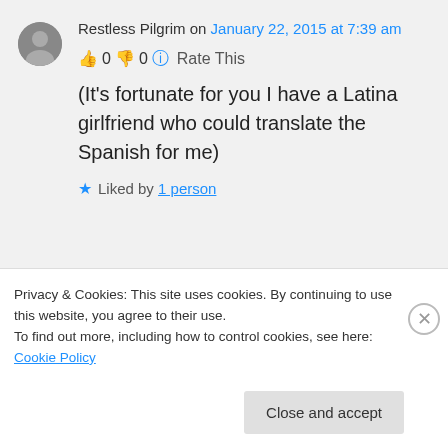Restless Pilgrim on January 22, 2015 at 7:39 am
👍 0 👎 0 ℹ️ Rate This
(It's fortunate for you I have a Latina girlfriend who could translate the Spanish for me)
★ Liked by 1 person
Privacy & Cookies: This site uses cookies. By continuing to use this website, you agree to their use. To find out more, including how to control cookies, see here: Cookie Policy
Close and accept